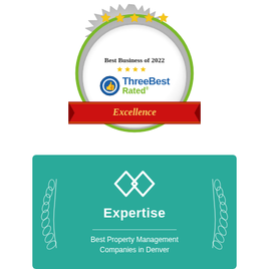[Figure (logo): ThreeBest Rated 'Best Business of 2022' award badge — silver gear/medallion shape with green circle border, five yellow stars at top, thumbs-up icon with circular logo, 'ThreeBest Rated' text in blue/green, and red ribbon banner saying 'Excellence' at the bottom.]
[Figure (logo): Expertise.com award badge — teal/turquoise square badge with linked-diamond icon at top, 'Expertise' in white bold text, horizontal rule, 'Best Property Management Companies in Denver' text, and white laurel wreath decorations on both sides.]